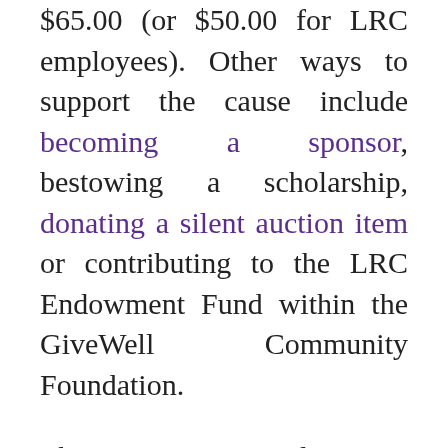$65.00 (or $50.00 for LRC employees). Other ways to support the cause include becoming a sponsor, bestowing a scholarship, donating a silent auction item or contributing to the LRC Endowment Fund within the GiveWell Community Foundation.
Those interested in sponsorships and donations should contact LRC Executive Director Dr. Pam Craven by email, PamelaC@LRCPolk.com, or phone, 863-688-9477 or send a